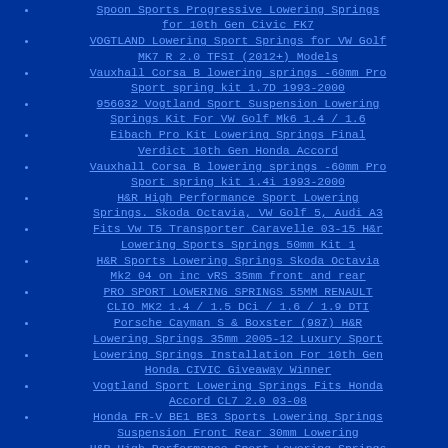Spoon Sports Progressive Lowering Springs for 10th Gen Civic FK7
VOGTLAND Lowering Sport Springs for VW Golf MK7 R 2.0 TFSI (2012+) Models
Vauxhall Corsa B lowering springs -60mm Pro Sport spring kit 1.7D 1993-2000
956032 Vogtland Sport Suspension Lowering Springs Kit For VW Golf Mk6 1.4 / 1.6
Eibach Pro Kit Lowering Springs Final Verdict 10th Gen Honda Accord
Vauxhall Corsa B lowering springs -60mm Pro Sport spring kit 1.4i 1993-2000
H&R High Performance Sport Lowering Springs. Skoda Octavia, VW Golf 5, Audi A3
Fits Vw T5 Transporter Caravelle 03-15 H&r Lowering Sports Springs 50mm Kit 1
H&R Sports Lowering Springs Skoda Octavia Mk2 04 on inc vRS 35mm front and rear
PRO SPORT LOWERING SPRINGS 55MM RENAULT CLIO MK2 1.4 / 1.5 DCi / 1.6 / 1.9 DTI
Porsche Cayman S & Boxster (987) H&R Lowering Springs 35mm 2005-12 Luxury Sport
Lowering Springs Installation For 10th Gen Honda CIVIC Giveaway Winner
Vogtland Sport Lowering Springs Fits Honda Accord CL7 2.0 03-08
Honda FR-V BE1 BE3 Sports Lowering Springs Suspension Front Rear 30mm Lowering
H&R High Performance Sport Lowering Springs For VW Golf MK5 (R32 4WD)